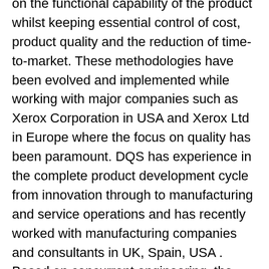on the functional capability of the product whilst keeping essential control of cost, product quality and the reduction of time-to-market. These methodologies have been evolved and implemented while working with major companies such as Xerox Corporation in USA and Xerox Ltd in Europe where the focus on quality has been paramount. DQS has experience in the complete product development cycle from innovation through to manufacturing and service operations and has recently worked with manufacturing companies and consultants in UK, Spain, USA . Based on concurrent engineering, the methodologies used help companies to assess their current processes in design and manufacturing, evaluate where improvements can be made and then implement a programme of change to make gains in efficiency, quality and time-to-market. DQS has